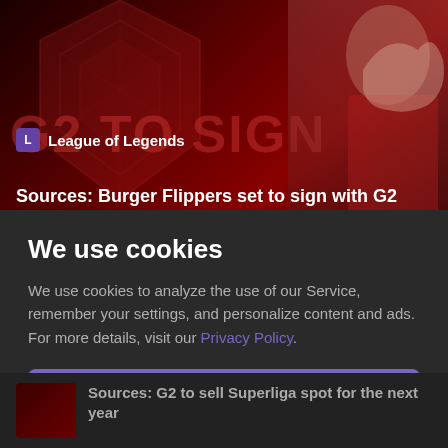[Figure (screenshot): Gaming news website screenshot showing a League of Legends article banner with red esports team branding, a person visible on the right side, overlaid with text 'G2 TO SIGN' and article title 'Sources: Burger Flippers set to sign with G2']
We use cookies
We use cookies to analyze the use of our Service, remember your settings, and personalize content and ads. For more details, visit our Privacy Policy.
Accept
Configure
Sources: G2 to sell Superliga spot for the next year